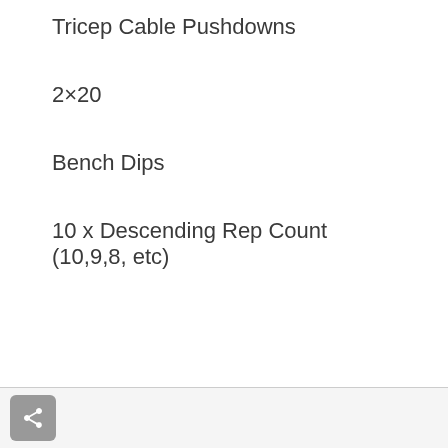Tricep Cable Pushdowns
2×20
Bench Dips
10 x Descending Rep Count (10,9,8, etc)